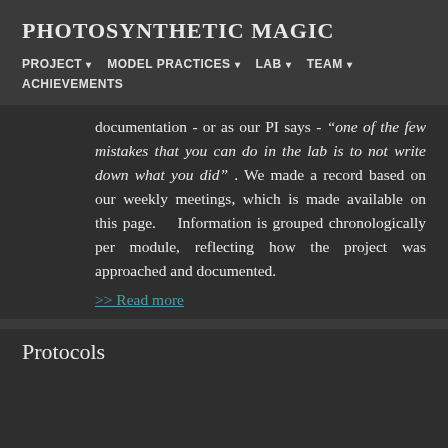PHOTOSYNTHETIC MAGIC
PROJECT ▾ MODEL PRACTICES ▾ LAB ▾ TEAM ▾ ACHIEVEMENTS
documentation - or as our PI says - "one of the few mistakes that you can do in the lab is to not write down what you did" . We made a record based on our weekly meetings, which is made available on this page. Information is grouped chronologically per module, reflecting how the project was approached and documented.
>> Read more
Protocols